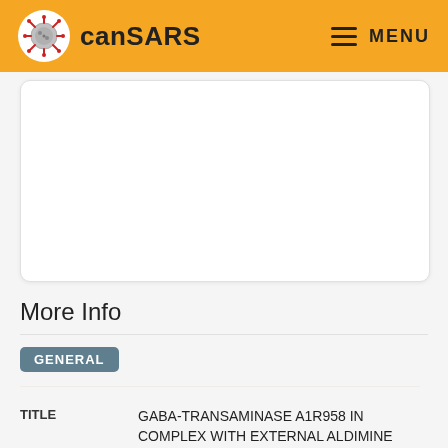canSARS   MENU
[Figure (other): White card area — placeholder for molecular structure viewer or image]
More Info
GENERAL
| Field | Value |
| --- | --- |
| TITLE | GABA-TRANSAMINASE A1R958 IN COMPLEX WITH EXTERNAL ALDIMINE PLP-GABA ADDUCT |
| DATE LAST |  |